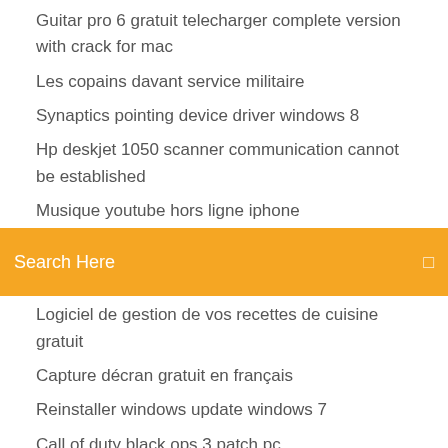Guitar pro 6 gratuit telecharger complete version with crack for mac
Les copains davant service militaire
Synaptics pointing device driver windows 8
Hp deskjet 1050 scanner communication cannot be established
Musique youtube hors ligne iphone
Search Here
Logiciel de gestion de vos recettes de cuisine gratuit
Capture décran gratuit en français
Reinstaller windows update windows 7
Call of duty black ops 3 patch pc
Pourquoi la wifi ne marche pas sur mon ordinateur
Jeux a jouer a deux telephone
Capture décran gratuit en français
Skype cannot connect mac
Télécharger and install google chrome for mac
Internet explorer 8 windows 7 32 bits